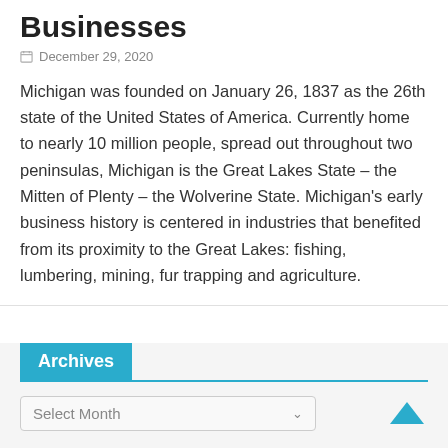Businesses
December 29, 2020
Michigan was founded on January 26, 1837 as the 26th state of the United States of America. Currently home to nearly 10 million people, spread out throughout two peninsulas, Michigan is the Great Lakes State – the Mitten of Plenty – the Wolverine State. Michigan's early business history is centered in industries that benefited from its proximity to the Great Lakes: fishing, lumbering, mining, fur trapping and agriculture.
Archives
Select Month